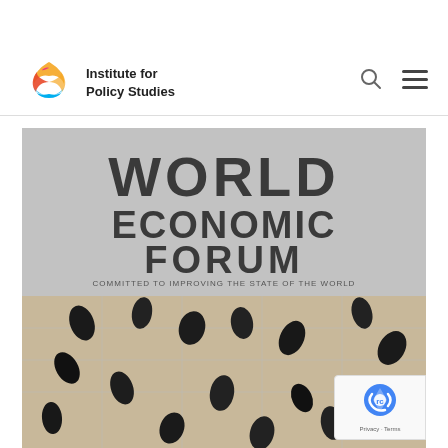Institute for Policy Studies
[Figure (photo): World Economic Forum sign above aerial view of attendees walking on a tiled floor, viewed from above.]